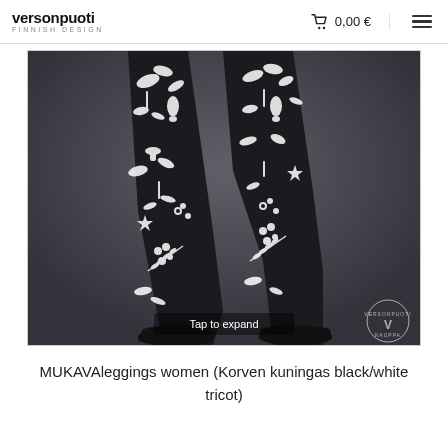versonpuoti FINNISH DESIGN | 0,00 €
[Figure (photo): Product photo of patterned black/white leggings (Korven kuningas design) worn by a model, showing legs from mid-thigh to feet wearing black flat shoes. White botanical/nature pattern on black fabric. 'Tap to expand' overlay text and Versonpuoti watermark logo in bottom-right corner.]
MUKAVAleggings women (Korven kuningas black/white tricot)